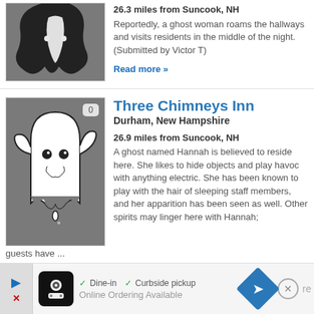[Figure (illustration): Ghost silhouette on dark grey background — partial crop at top of page]
26.3 miles from Suncook, NH
Reportedly, a ghost woman roams the hallways and visits residents in the middle of the night. (Submitted by Victor T)
Read more »
[Figure (illustration): Cartoon friendly ghost (white) on dark grey background, with badge showing 0]
Three Chimneys Inn
Durham, New Hampshire
26.9 miles from Suncook, NH
A ghost named Hannah is believed to reside here. She likes to hide objects and play havoc with anything electric. She has been known to play with the hair of sleeping staff members, and her apparition has been seen as well. Other spirits may linger here with Hannah; guests have ...
Read more »
[Figure (screenshot): Ad banner at bottom: Dine-in, Curbside pickup, Online Ordering Available, with navigation icon and close button]